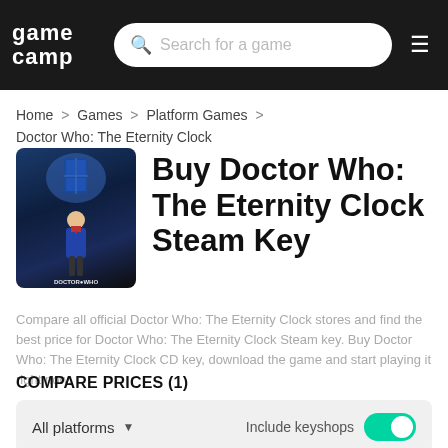[Figure (screenshot): GameCamp website navigation bar with logo, search box, and hamburger menu]
Home > Games > Platform Games > Doctor Who: The Eternity Clock
Buy Doctor Who: The Eternity Clock Steam Key
Compare all official Doctor Who: The Eternity Clock stores and find the best price for Doctor Who: The Eternity Clock Steam key. Buy Doctor Who: The Eternity Clock CD key, download the game and start playing it right now.
COMPARE PRICES (1)
All platforms
Include keyshops
[Figure (logo): Kinguin store logo with penguin icon and Steam platform badge]